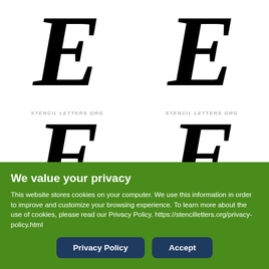[Figure (illustration): Four large italic serif stencil letters arranged in a 2x2 grid. Top row: two large italic 'E' letters. Bottom row: two large italic 'F' letters. Each bottom cell has a watermark reading 'STENCIL LETTERS ORG' at the top.]
We value your privacy
This website stores cookies on your computer. We use this information in order to improve and customize your browsing experience. To learn more about the use of cookies, please read our Privacy Policy. https://stencilletters.org/privacy-policy.html
Privacy Policy
Accept